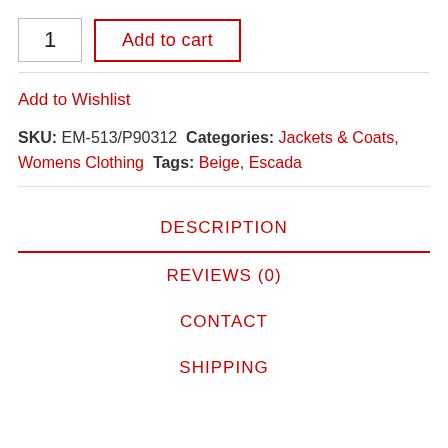1  Add to cart
Add to Wishlist
SKU: EM-513/P90312 Categories: Jackets & Coats, Womens Clothing Tags: Beige, Escada
DESCRIPTION
REVIEWS (0)
CONTACT
SHIPPING